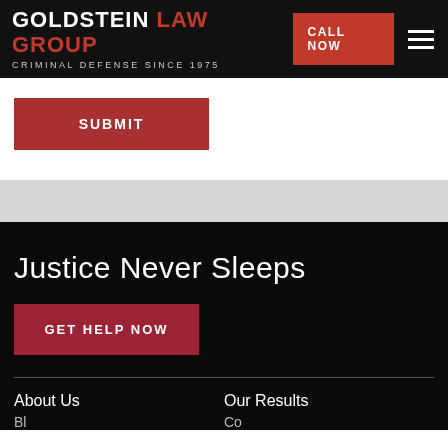GOLDSTEIN LAW GROUP | CRIMINAL DEFENSE SINCE 1975 | CALL NOW
SUBMIT
Justice Never Sleeps
GET HELP NOW
About Us
Our Results
Bl...
Co...